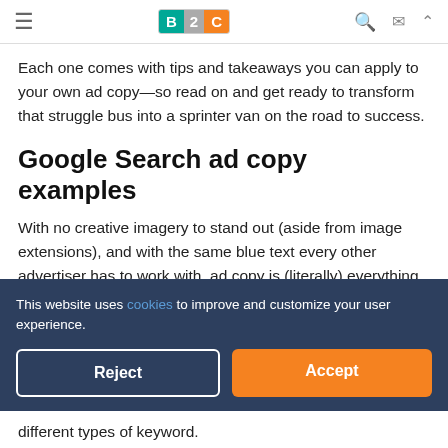B2C [logo with hamburger menu and icons]
Each one comes with tips and takeaways you can apply to your own ad copy—so read on and get ready to transform that struggle bus into a sprinter van on the road to success.
Google Search ad copy examples
With no creative imagery to stand out (aside from image extensions), and with the same blue text every other advertiser has to work with, ad copy is (literally) everything
This website uses cookies to improve and customize your user experience.
different types of keyword.